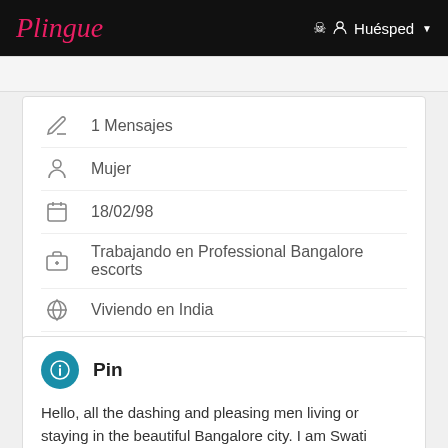Plingue | Huésped
1 Mensajes
Mujer
18/02/98
Trabajando en Professional Bangalore escorts
Viviendo en India
Situado en Bangalore
Pin
Hello, all the dashing and pleasing men living or staying in the beautiful Bangalore city. I am Swati Sethi, a high profile sensual call girl in Bangalore who is comfortable offering erotic and companionship services to those in need. You will not feel lonely in my company because I assure to make my clients comfortable